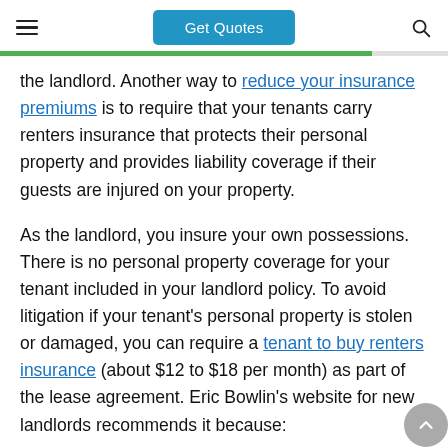Get Quotes
the landlord. Another way to reduce your insurance premiums is to require that your tenants carry renters insurance that protects their personal property and provides liability coverage if their guests are injured on your property.
As the landlord, you insure your own possessions. There is no personal property coverage for your tenant included in your landlord policy. To avoid litigation if your tenant's personal property is stolen or damaged, you can require a tenant to buy renters insurance (about $12 to $18 per month) as part of the lease agreement. Eric Bowlin's website for new landlords recommends it because:
Expert tip: If something happens to the tenant's